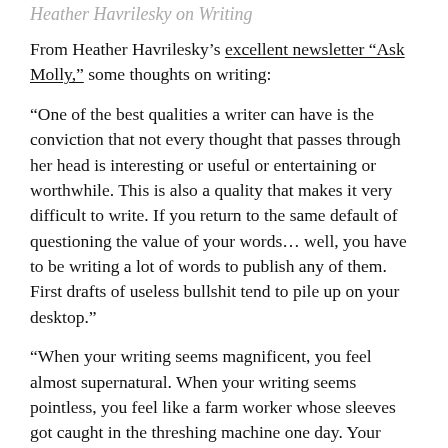Heather Havrilesky on Writing
From Heather Havrilesky's excellent newsletter “Ask Molly,” some thoughts on writing:
“One of the best qualities a writer can have is the conviction that not every thought that passes through her head is interesting or useful or entertaining or worthwhile. This is also a quality that makes it very difficult to write. If you return to the same default of questioning the value of your words… well, you have to be writing a lot of words to publish any of them. First drafts of useless bullshit tend to pile up on your desktop.”
“When your writing seems magnificent, you feel almost supernatural. When your writing seems pointless, you feel like a farm worker whose sleeves got caught in the threshing machine one day. Your hands are mangled and you can’t do your job and you definitely blame yourself,